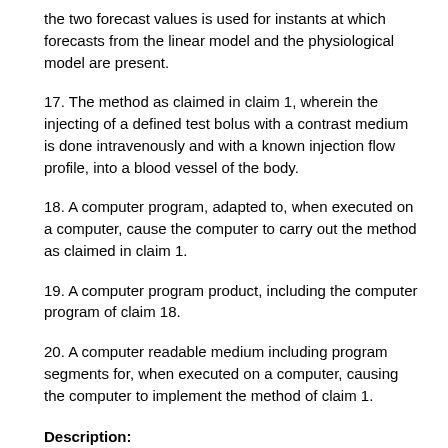the two forecast values is used for instants at which forecasts from the linear model and the physiological model are present.
17. The method as claimed in claim 1, wherein the injecting of a defined test bolus with a contrast medium is done intravenously and with a known injection flow profile, into a blood vessel of the body.
18. A computer program, adapted to, when executed on a computer, cause the computer to carry out the method as claimed in claim 1.
19. A computer program product, including the computer program of claim 18.
20. A computer readable medium including program segments for, when executed on a computer, causing the computer to implement the method of claim 1.
Description:
The present application hereby claims priority under 35 U.S.C. §119 on German patent application number DE 10 2005 006 657.7 filed Feb. 14, 2005, the entire contents of which is hereby incorporated herein by